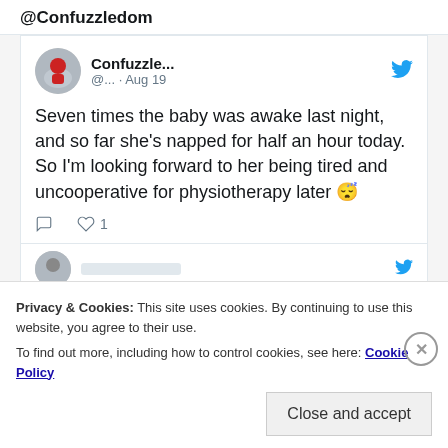@Confuzzledom
[Figure (screenshot): Twitter/social media tweet card from user Confuzzle... (@... · Aug 19) with a profile avatar photo and Twitter bird icon]
Seven times the baby was awake last night, and so far she's napped for half an hour today. So I'm looking forward to her being tired and uncooperative for physiotherapy later 😴
Cookie banner: Privacy & Cookies: This site uses cookies. By continuing to use this website, you agree to their use. To find out more, including how to control cookies, see here: Cookie Policy
Close and accept